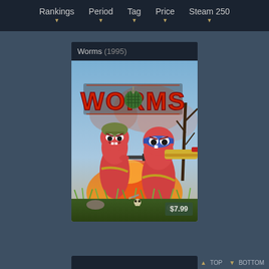Rankings  Period  Tag  Price  Steam 250
Worms (1995)
[Figure (illustration): Worms (1995) Steam game cover art showing two armed cartoon worm characters with weapons in front of an explosion, with the WORMS logo at top.]
$7.99
▲ TOP  ▼ BOTTOM